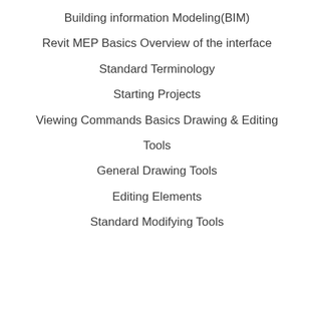Building information Modeling(BIM)
Revit MEP Basics Overview of the interface
Standard Terminology
Starting Projects
Viewing Commands Basics Drawing & Editing
Tools
General Drawing Tools
Editing Elements
Standard Modifying Tools